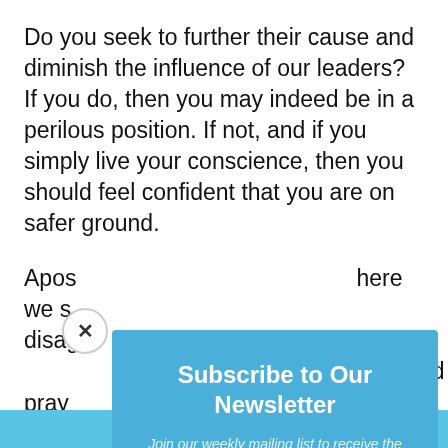Do you seek to further their cause and diminish the influence of our leaders? If you do, then you may indeed be in a perilous position. If not, and if you simply live your conscience, then you should feel confident that you are on safer ground.
Apos[tles and other leaders are...] here we s[ee...] disag[ree...] nd pray[...] susta[in...]
Dive[rse...] rch that [...] y must [...] ord has e[...]
[Figure (other): Newsletter subscription modal popup overlay. Blue header section with title 'Subscribe to Our Newsletter' in bold white text. Subtitle reads 'Join our weekly mailing list to receive the latest in LDS News.' in light white italic text. Dark grey lower section with an email input field placeholder 'Email' and a red 'SUBSCRIBE!' button. A white circular close button (X) is at the top left of the modal. A downward-pointing triangle notch separates the blue and dark sections.]
Share This ∨  ✕